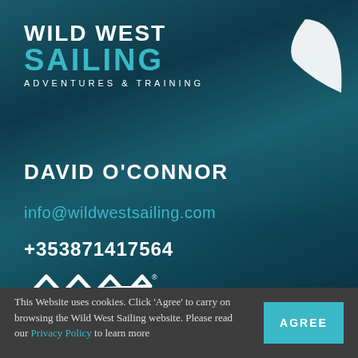[Figure (logo): Wild West Sailing logo with sail shape graphic. Text reads: WILD WEST SAILING ADVENTURES & TRAINING]
DAVID O'CONNOR
info@wildwestsailing.com
+353871417564
[Figure (logo): Wild Atlantic Way logo — zigzag wave symbol with text WILD ATLANTIC WAY]
This Website uses cookies. Click 'Agree' to carry on browsing the Wild West Sailing website. Please read our Privacy Policy to learn more